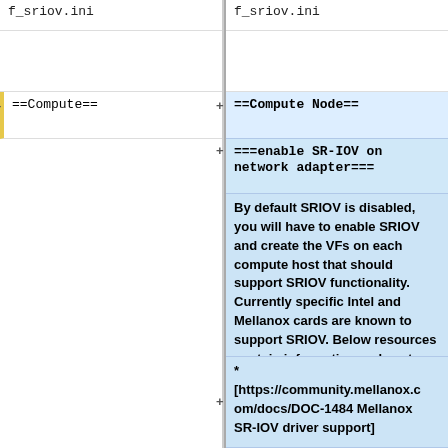f_sriov.ini
f_sriov.ini
==Compute==
+==Compute Node==
===enable SR-IOV on network adapter===
By default SRIOV is disabled, you will have to enable SRIOV and create the VFs on each compute host that should support SRIOV functionality. Currently specific Intel and Mellanox cards are known to support SRIOV. Below resources contain information on how to enable and create the VFs:
* [https://community.mellanox.com/docs/DOC-1484 Mellanox SR-IOV driver support]